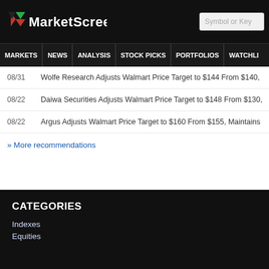MarketScreener — Symbol or Key
MARKETS NEWS ANALYSIS STOCK PICKS PORTFOLIOS WATCHLI
08/31  Wolfe Research Adjusts Walmart Price Target to $144 From $140, Mainta
08/22  Daiwa Securities Adjusts Walmart Price Target to $148 From $130, Mainta
08/22  Argus Adjusts Walmart Price Target to $160 From $155, Maintains Buy Ra
» More recommendations
CATEGORIES
Indexes
Equities